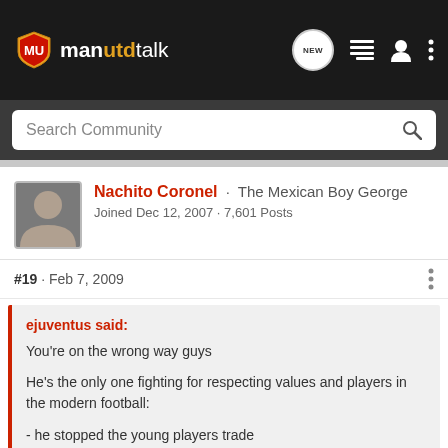manutdtalk
Search Community
[Figure (photo): User avatar photo of Nachito Coronel]
Nachito Coronel · The Mexican Boy George
Joined Dec 12, 2007 · 7,601 Posts
#19 · Feb 7, 2009
ejuventus said:
You're on the wrong way guys

He's the only one fighting for respecting values and players in the modern football:

- he stopped the young players trade
- he wanted to enlarge visibility of other teams than usual 4 countries
Click to expand...